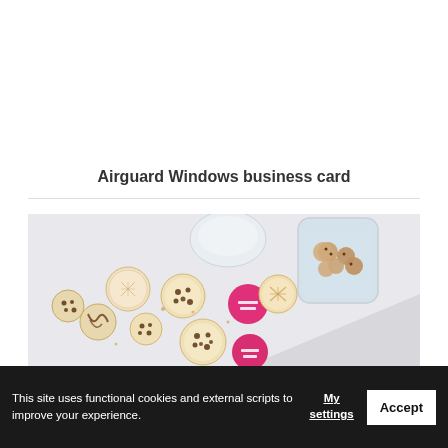Airguard Windows business card
[Figure (photo): Overhead photo of cookie-shaped business cards and real cookies scattered on a white surface, with a glass jar full of mini cookies in the upper right corner and pink circular branded stickers among the cookie cards.]
This site uses functional cookies and external scripts to improve your experience.
My settings
Accept